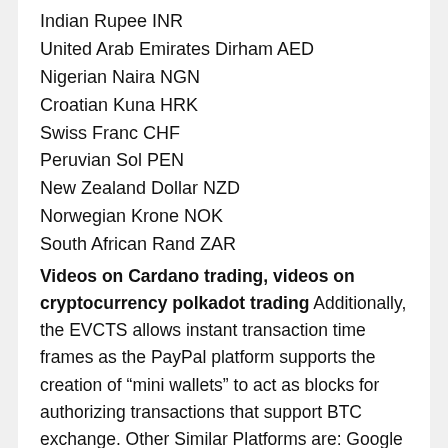Indian Rupee INR
United Arab Emirates Dirham AED
Nigerian Naira NGN
Croatian Kuna HRK
Swiss Franc CHF
Peruvian Sol PEN
New Zealand Dollar NZD
Norwegian Krone NOK
South African Rand ZAR
Videos on Cardano trading, videos on cryptocurrency polkadot trading Additionally, the EVCTS allows instant transaction time frames as the PayPal platform supports the creation of “mini wallets” to act as blocks for authorizing transactions that support BTC exchange. Other Similar Platforms are: Google Wallet Skrill Intuit. Bitcoin is a major investment, both as an asset and a cryptocurrency. With such a potential, it is worthwhile to consider aspects of Bitcoin such as its history, payment options, biggest scams in history and the wallet, videos on cardano trading. If you’re still a bit confused, that’s okay.